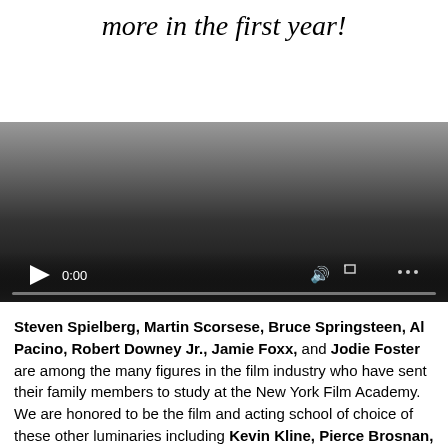more in the first year!
[Figure (screenshot): Embedded video player showing a black gradient background with playback controls: play button, time display '0:00', volume icon, fullscreen icon, and more options icon. A progress bar is shown at the bottom.]
Steven Spielberg, Martin Scorsese, Bruce Springsteen, Al Pacino, Robert Downey Jr., Jamie Foxx, and Jodie Foster are among the many figures in the film industry who have sent their family members to study at the New York Film Academy. We are honored to be the film and acting school of choice of these other luminaries including Kevin Kline, Pierce Brosnan, Susan Sarandon and Tim